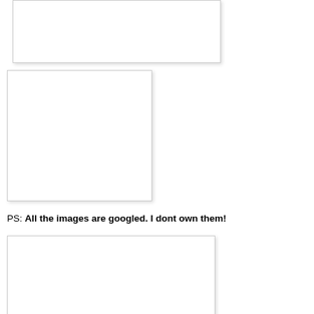[Figure (photo): Empty white image placeholder box at top]
[Figure (photo): Empty white image placeholder box in middle-left]
PS: All the images are googled. I dont own them!
I love lakme products. If you also do Please visit their Fb page"I-Love lakme" to knowmore
[Figure (photo): Empty white image placeholder box at bottom]